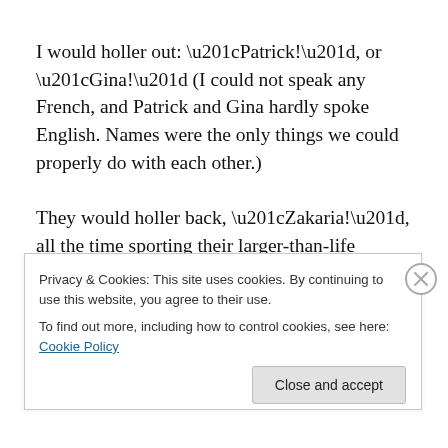I would holler out: “Patrick!”, or “Gina!” (I could not speak any French, and Patrick and Gina hardly spoke English. Names were the only things we could properly do with each other.)
They would holler back, “Zakaria!”, all the time sporting their larger-than-life smiles. Then we would hug or shake hands. These were always intensely intimate moments.
Patrick knew a little English, though, and we used that to
Privacy & Cookies: This site uses cookies. By continuing to use this website, you agree to their use.
To find out more, including how to control cookies, see here: Cookie Policy
Close and accept